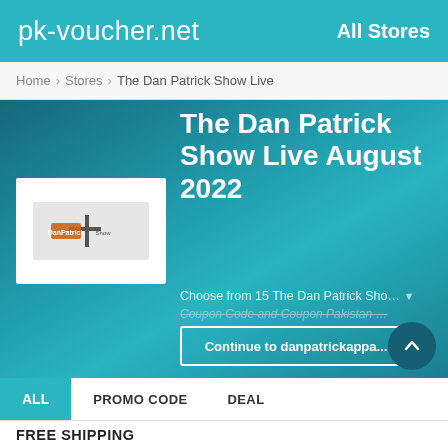pk-voucher.net  All Stores
Home > Stores > The Dan Patrick Show Live
The Dan Patrick Show Live August 2022
[Figure (logo): The Dan Patrick Show logo — white box with a stylized brown/orange logo mark on a light grey background]
Choose from 15 The Dan Patrick Sho… Coupon Code and Coupon Pakistan …
Continue to danpatrickappa...
ALL   PROMO CODE   DEAL
FREE SHIPPING